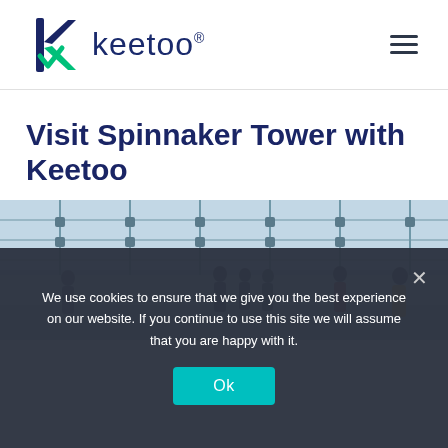[Figure (logo): Keetoo logo with stylized K in navy blue and green, followed by the word keetoo with registered trademark symbol]
Visit Spinnaker Tower with Keetoo
[Figure (photo): Interior of Spinnaker Tower observation deck with glass ceiling and silhouettes of visitors looking out over the view]
We use cookies to ensure that we give you the best experience on our website. If you continue to use this site we will assume that you are happy with it.